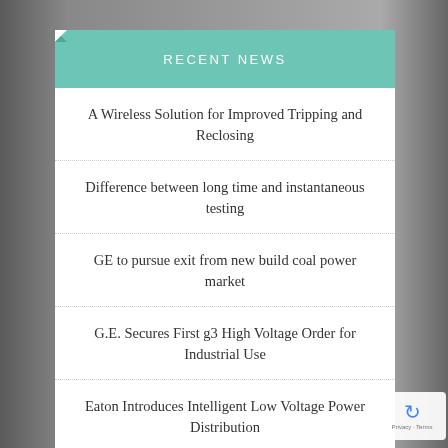RECENT NEWS
A Wireless Solution for Improved Tripping and Reclosing
Difference between long time and instantaneous testing
GE to pursue exit from new build coal power market
G.E. Secures First g3 High Voltage Order for Industrial Use
Eaton Introduces Intelligent Low Voltage Power Distribution